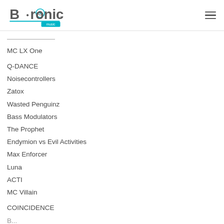[Figure (logo): B-Tronic Music logo with teal/cyan circular icon and text]
MC LX One
Q-DANCE
Noisecontrollers
Zatox
Wasted Penguinz
Bass Modulators
The Prophet
Endymion vs Evil Activities
Max Enforcer
Luna
ACTI
MC Villain
COINCIDENCE